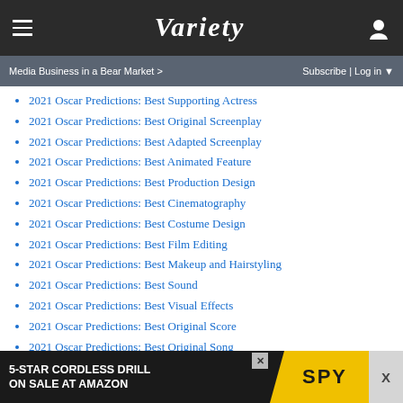VARIETY
Media Business in a Bear Market > | Subscribe | Log in
2021 Oscar Predictions: Best Supporting Actress
2021 Oscar Predictions: Best Original Screenplay
2021 Oscar Predictions: Best Adapted Screenplay
2021 Oscar Predictions: Best Animated Feature
2021 Oscar Predictions: Best Production Design
2021 Oscar Predictions: Best Cinematography
2021 Oscar Predictions: Best Costume Design
2021 Oscar Predictions: Best Film Editing
2021 Oscar Predictions: Best Makeup and Hairstyling
2021 Oscar Predictions: Best Sound
2021 Oscar Predictions: Best Visual Effects
2021 Oscar Predictions: Best Original Score
2021 Oscar Predictions: Best Original Song
2021 Oscar Predictions: Best Documentary Feature
[Figure (infographic): 5-STAR CORDLESS DRILL ON SALE AT AMAZON - SPY advertisement banner]